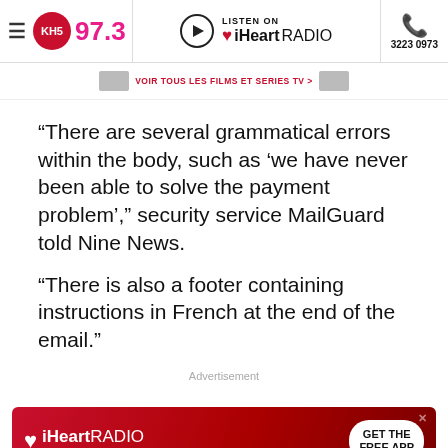KHS 97.3 | LISTEN ON iHeartRADIO | 3223 0973
VOIR TOUS LES FILMS ET SERIES TV >
“There are several grammatical errors within the body, such as ‘we have never been able to solve the payment problem’,” security service MailGuard told Nine News.
“There is also a footer containing instructions in French at the end of the email.”
Advertisement
[Figure (other): iHeartRADIO advertisement banner with red gradient background, iHeartRADIO logo on left and GET THE FREE APP button on right]